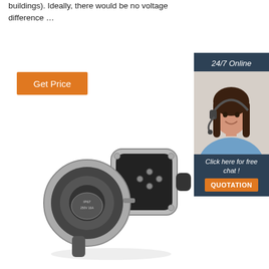buildings). Ideally, there would be no voltage difference …
[Figure (other): Orange 'Get Price' button]
[Figure (photo): Customer service representative wearing headset with '24/7 Online' header and 'Click here for free chat!' and 'QUOTATION' button in dark blue sidebar widget]
[Figure (photo): Electrical connector / plug assembly shown open, with metal housing and multiple pin connector]